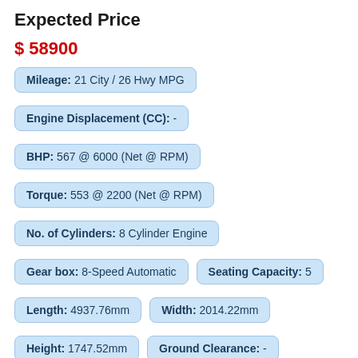Expected Price
$ 58900
Mileage: 21 City / 26 Hwy MPG
Engine Displacement (CC): -
BHP: 567 @ 6000 (Net @ RPM)
Torque: 553 @ 2200 (Net @ RPM)
No. of Cylinders: 8 Cylinder Engine
Gear box: 8-Speed Automatic
Seating Capacity: 5
Length: 4937.76mm
Width: 2014.22mm
Height: 1747.52mm
Ground Clearance: -